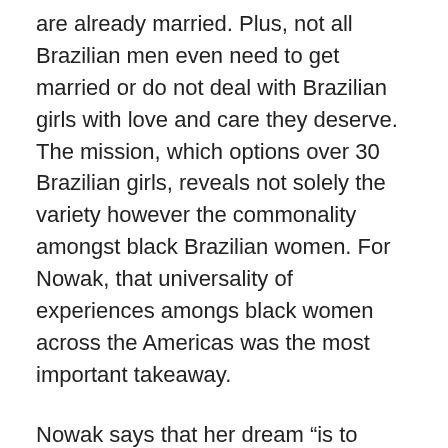are already married. Plus, not all Brazilian men even need to get married or do not deal with Brazilian girls with love and care they deserve. The mission, which options over 30 Brazilian girls, reveals not solely the variety however the commonality amongst black Brazilian women. For Nowak, that universality of experiences amongs black women across the Americas was the most important takeaway.
Nowak says that her dream “is to create radical spaces the place black ladies are taught to like themselves, lead and resist.” ComoéSerUmaMulherNegra is, no doubt, an important step in realizing that dream. Being in a relationship with a Brazilian woman black brazil women is like being within the centre of probably